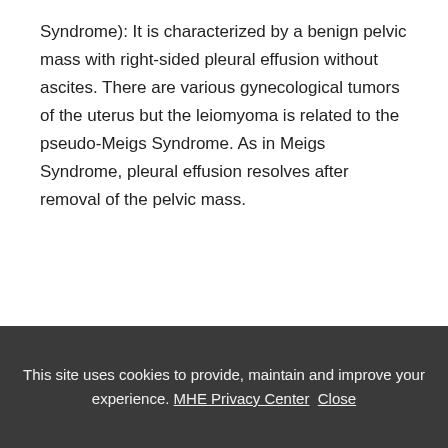Syndrome): It is characterized by a benign pelvic mass with right-sided pleural effusion without ascites. There are various gynecological tumors of the uterus but the leiomyoma is related to the pseudo-Meigs Syndrome. As in Meigs Syndrome, pleural effusion resolves after removal of the pelvic mass.
Synonyms
This site uses cookies to provide, maintain and improve your experience. MHE Privacy Center Close